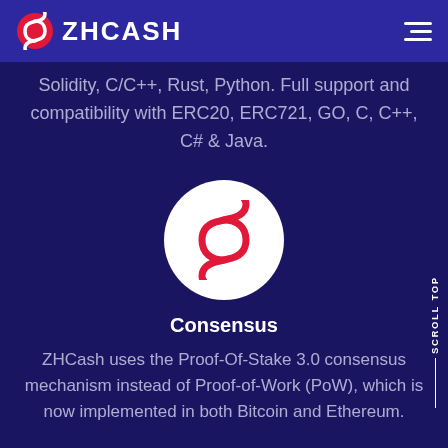ZHCASH
Solidity, C/C++, Rust, Python. Full support and compatibility with ERC20, ERC721, GO, C, C++, C# & Java.
[Figure (logo): ZHCash circular logo with red stylized S symbol on white background]
Consensus
ZHCash uses the Proof-Of-Stake 3.0 consensus mechanism instead of Proof-of-Work (PoW), which is now implemented in both Bitcoin and Ethereum.